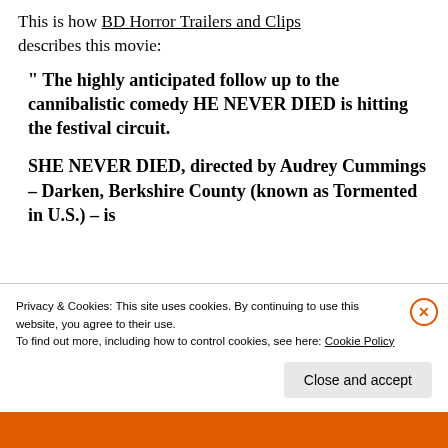This is how BD Horror Trailers and Clips describes this movie:
" The highly anticipated follow up to the cannibalistic comedy HE NEVER DIED is hitting the festival circuit.

SHE NEVER DIED, directed by Audrey Cummings – Darken, Berkshire County (known as Tormented in U.S.) – is
Privacy & Cookies: This site uses cookies. By continuing to use this website, you agree to their use.
To find out more, including how to control cookies, see here: Cookie Policy
Close and accept